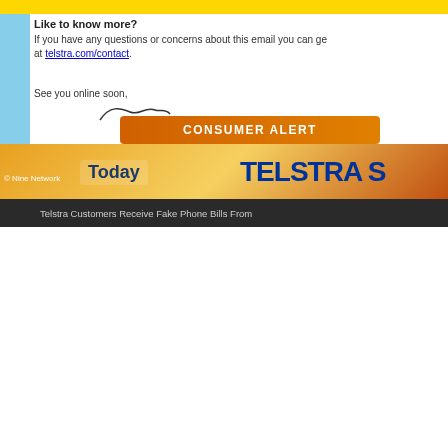Like to know more?
If you have any questions or concerns about this email you can get in touch at telstra.com/contact.
See you online soon,
[Figure (other): Handwritten signature]
[Figure (other): Consumer Alert banner with orange background]
[Figure (other): Nine Network Today show logo with orange background, overlaid with TELSTRA S text in dark blue]
Telstra Customers Receive Fake Phone Bills From
[Figure (logo): NICEIC logo with red NIC text and grey blocks]
This safety certificate is an important and valuable document which should be retained for future reference
DOMESTIC ELE issued in accordance with British S, enrolled with NICEIC, Warwick Hou
DETAILS OF THE CLIENT
ADDRESS OF THE
| Client and address | Tel | Mobile | Postcode |
| --- | --- | --- | --- |
| Mr Wordsworth
25 Shipton Close | Telephone | Mobile | C Pstcde |
| Installation address |
| --- |
| 25 Shipton |
DETAILS OF THE INSTALLATION
Extent of the installation work covered by this certificate
Various tiling repairs